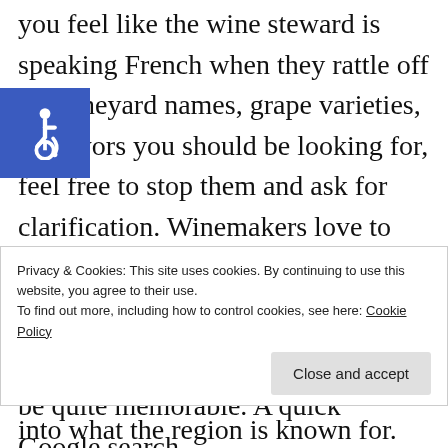you feel like the wine steward is speaking French when they rattle off the vineyard names, grape varieties, or flavors you should be looking for, feel free to stop them and ask for clarification. Winemakers love to talk about these things and often forget that not everyone knows their jargon. If you want to do a little research before your tasting, look into what the region is known for. Certain
[Figure (illustration): Blue accessibility icon (wheelchair symbol) in a blue square on the left side of the page]
Privacy & Cookies: This site uses cookies. By continuing to use this website, you agree to their use.
To find out more, including how to control cookies, see here: Cookie Policy
[Close and accept button]
be quite memorable. A quick Google search